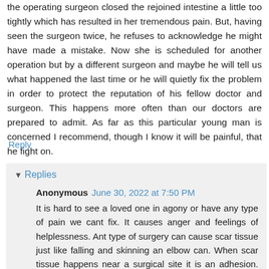the operating surgeon closed the rejoined intestine a little too tightly which has resulted in her tremendous pain. But, having seen the surgeon twice, he refuses to acknowledge he might have made a mistake. Now she is scheduled for another operation but by a different surgeon and maybe he will tell us what happened the last time or he will quietly fix the problem in order to protect the reputation of his fellow doctor and surgeon. This happens more often than our doctors are prepared to admit. As far as this particular young man is concerned I recommend, though I know it will be painful, that he fight on.
Reply
Replies
Anonymous  June 30, 2022 at 7:50 PM
It is hard to see a loved one in agony or have any type of pain we cant fix. It causes anger and feelings of helplessness. Ant type of surgery can cause scar tissue just like falling and skinning an elbow can. When scar tissue happens near a surgical site it is an adhesion. This can make